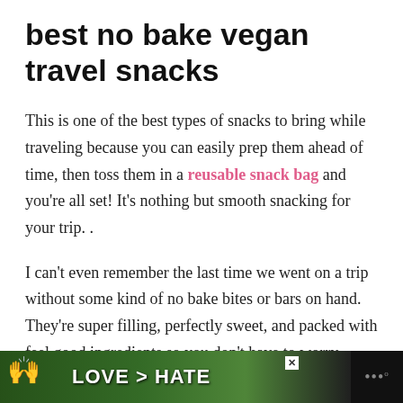best no bake vegan travel snacks
This is one of the best types of snacks to bring while traveling because you can easily prep them ahead of time, then toss them in a reusable snack bag and you're all set! It's nothing but smooth snacking for your trip. .
I can't even remember the last time we went on a trip without some kind of no bake bites or bars on hand. They're super filling, perfectly sweet, and packed with feel good ingredients so you don't have to worry about sticking to any diets (or just general healthy eating) while you travel.
[Figure (other): Advertisement banner at bottom: dark background with hands forming a heart shape over greenery, text 'LOVE > HATE' in white bold letters, close button (X), and a logo with dots on the right side.]